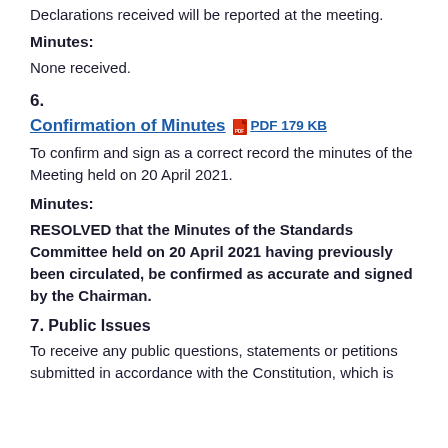Declarations received will be reported at the meeting.
Minutes:
None received.
6.
Confirmation of Minutes  PDF 179 KB
To confirm and sign as a correct record the minutes of the Meeting held on 20 April 2021.
Minutes:
RESOLVED that the Minutes of the Standards Committee held on 20 April 2021 having previously been circulated, be confirmed as accurate and signed by the Chairman.
7.
Public Issues
To receive any public questions, statements or petitions submitted in accordance with the Constitution, which is